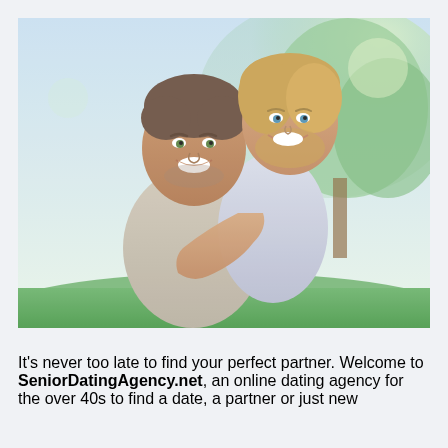[Figure (photo): A smiling middle-aged couple outdoors. A man in a light shirt is in the foreground smiling at the camera, with a woman hugging him from behind, also smiling. Green trees and bright natural light in the background.]
It's never too late to find your perfect partner. Welcome to SeniorDatingAgency.net, an online dating agency for the over 40s to find a date, a partner or just new